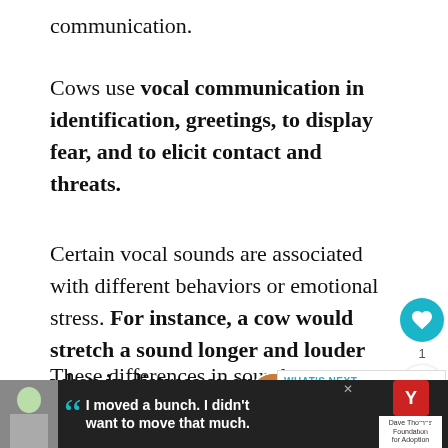communication.
Cows use vocal communication in identification, greetings, to display fear, and to elicit contact and threats.
Certain vocal sounds are associated with different behaviors or emotional stress. For instance, a cow would stretch a sound longer and louder when in distress or excited.
These differences in sound are essential to the welfare of the cow, and as they grow older, the so...
[Figure (screenshot): UI overlay with heart/like button (teal circle with heart icon), count '1', and share button]
[Figure (screenshot): What's Next panel showing '5 Best Barn Cat Breeds' with a cat photo thumbnail]
[Figure (screenshot): Advertisement bar at bottom: youth photo, Dave Thomas Foundation for Adoption quote 'I moved a bunch. I didn't want to move that much.']